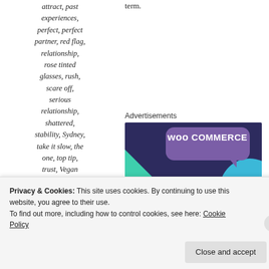attract, past experiences, perfect, perfect partner, red flag, relationship, rose tinted glasses, rush, scare off, serious relationship, shattered, stability, Sydney, take it slow, the one, top tip, trust, Vegan
term.
Advertisements
[Figure (other): WooCommerce advertisement banner with dark purple background, green triangle, teal circle, speech bubble with WooCommerce logo, tagline 'Turn your hobby into a business in 8 steps', and a 'Start a new store' button.]
Privacy & Cookies: This site uses cookies. By continuing to use this website, you agree to their use. To find out more, including how to control cookies, see here: Cookie Policy
Close and accept